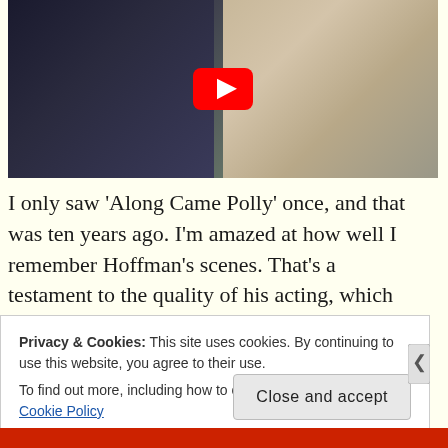[Figure (screenshot): YouTube video thumbnail showing two men facing each other closely, with a red YouTube play button overlay in the center. Left person has dark hair wearing dark jacket, right person has blonde hair wearing light jacket with green shirt.]
I only saw ‘Along Came Polly’ once, and that was ten years ago. I’m amazed at how well I remember Hoffman’s scenes. That’s a testament to the quality of his acting, which was so good for so long
Privacy & Cookies: This site uses cookies. By continuing to use this website, you agree to their use.
To find out more, including how to control cookies, see here: Cookie Policy
Close and accept